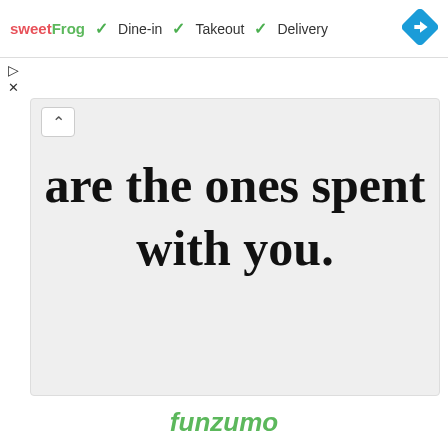sweetFrog ✓ Dine-in ✓ Takeout ✓ Delivery
[Figure (screenshot): A screenshot of a web page showing a sweetFrog restaurant listing header with checkmarks for Dine-in, Takeout, and Delivery, and a blue diamond navigation icon. Below the header is a card with the text 'are the ones spent with you.' in bold handwritten font on a light gray background. At the bottom of the page is the funzumo logo in green italic text.]
are the ones spent with you.
funzumo